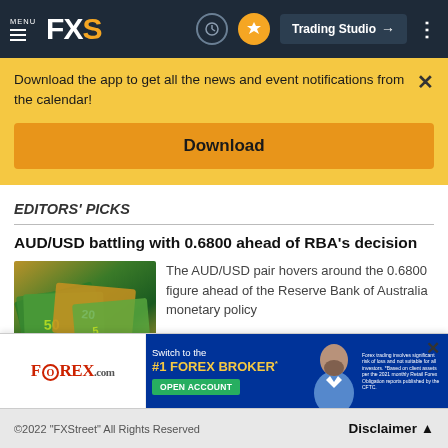MENU FXS | Trading Studio
Download the app to get all the news and event notifications from the calendar!
Download
EDITORS' PICKS
AUD/USD battling with 0.6800 ahead of RBA's decision
[Figure (photo): Photo of Australian dollar banknotes fanned out showing $50 and $20 notes in green and gold colors]
The AUD/USD pair hovers around the 0.6800 figure ahead of the Reserve Bank of Australia monetary policy
[Figure (infographic): FOREX.com advertisement banner: Switch to the #1 FOREX BROKER* with OPEN ACCOUNT button, featuring a man in blue shirt and disclaimer text about forex trading risks]
©2022 "FXStreet" All Rights Reserved    Disclaimer ▲